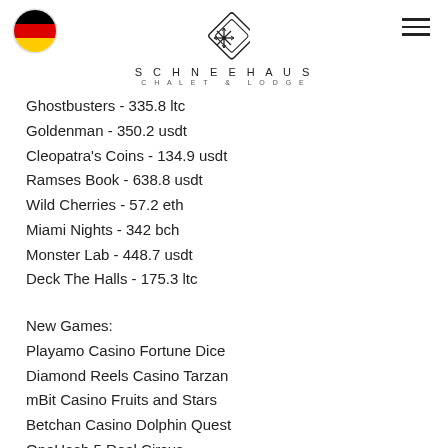Schneehaus Chalet & Lodge
Ghostbusters - 335.8 ltc
Goldenman - 350.2 usdt
Cleopatra's Coins - 134.9 usdt
Ramses Book - 638.8 usdt
Wild Cherries - 57.2 eth
Miami Nights - 342 bch
Monster Lab - 448.7 usdt
Deck The Halls - 175.3 ltc
New Games:
Playamo Casino Fortune Dice
Diamond Reels Casino Tarzan
mBit Casino Fruits and Stars
Betchan Casino Dolphin Quest
OneHash 5 Reel Circus
mBit Casino Island